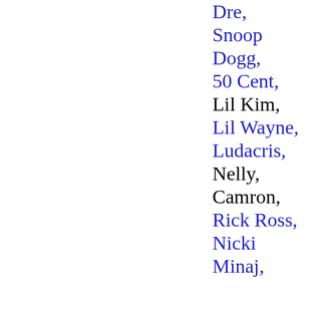Dre,
Snoop Dogg,
50 Cent,
Lil Kim,
Lil Wayne,
Ludacris,
Nelly,
Camron,
Rick Ross,
Nicki Minaj,